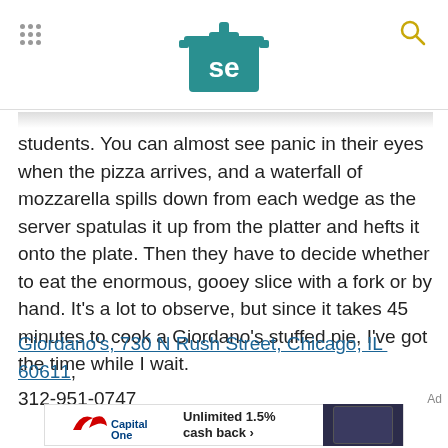Serious Eats header with logo
students. You can almost see panic in their eyes when the pizza arrives, and a waterfall of mozzarella spills down from each wedge as the server spatulas it up from the platter and hefts it onto the plate. Then they have to decide whether to eat the enormous, gooey slice with a fork or by hand. It’s a lot to observe, but since it takes 45 minutes to cook a Giordano’s stuffed pie, I’ve got the time while I wait.
Giordano’s, 730 N Rush Street, Chicago, IL  60611, 312-951-0747
[Figure (screenshot): Capital One advertisement banner: Unlimited 1.5% cash back with credit card image]